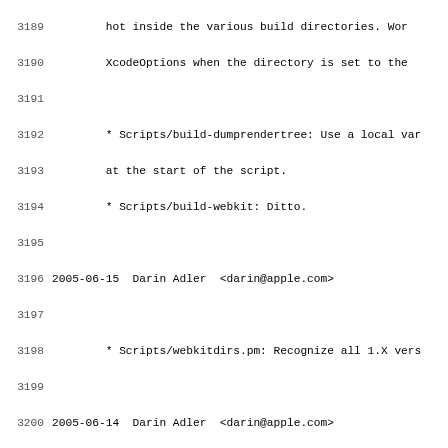Source code changelog/ChangeLog viewer showing lines 3189-3220 of a WebKit project log
3189: hot inside the various build directories. Wor
3190: XcodeOptions when the directory is set to the
3191: (blank)
3192: * Scripts/build-dumprendertree: Use a local var
3193: at the start of the script.
3194: * Scripts/build-webkit: Ditto.
3195: (blank)
3196: 2005-06-15  Darin Adler  <darin@apple.com>
3197: (blank)
3198: * Scripts/webkitdirs.pm: Recognize all 1.X vers
3199: (blank)
3200: 2005-06-14  Darin Adler  <darin@apple.com>
3201: (blank)
3202: Changes by Anders Carlsson.
3203: Reviewed by me.
3204: (blank)
3205: - fixed <http://bugzilla.opendarwin.org/show_bu
3206: Add gdb-safari script to launch Safari under
3207: (blank)
3208: * Scripts/gdb-safari: Added.
3209: (blank)
3210: 2005-06-12  Darin Adler  <darin@apple.com>
3211: (blank)
3212: Changes by Stuart Morgan.
3213: Reviewed by me.
3214: (blank)
3215: * Scripts/cvs-abandon: Use cwd instead of `pwd`
3216: * Scripts/cvs-apply: Ditto.
3217: * Scripts/cvs-create-patch: Ditto.
3218: * Scripts/cvs-unapply: Ditto.
3219: * Scripts/run-webkit-tests: Ditto.
3220: * Scripts/webkitdirs.pm: Ditto. Also improve ha